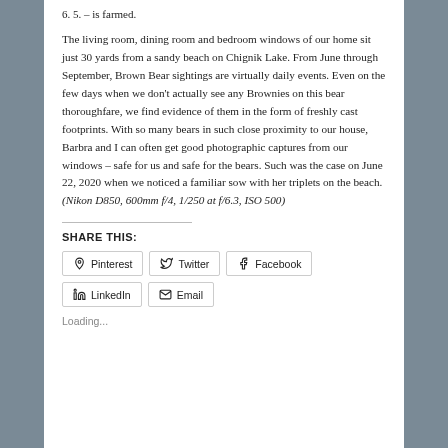6. 5. – is farmed.
The living room, dining room and bedroom windows of our home sit just 30 yards from a sandy beach on Chignik Lake. From June through September, Brown Bear sightings are virtually daily events. Even on the few days when we don't actually see any Brownies on this bear thoroughfare, we find evidence of them in the form of freshly cast footprints. With so many bears in such close proximity to our house, Barbra and I can often get good photographic captures from our windows – safe for us and safe for the bears. Such was the case on June 22, 2020 when we noticed a familiar sow with her triplets on the beach. (Nikon D850, 600mm f/4, 1/250 at f/6.3, ISO 500)
SHARE THIS:
Pinterest
Twitter
Facebook
LinkedIn
Email
Loading...